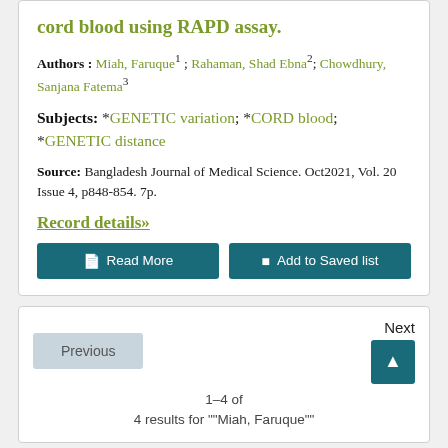cord blood using RAPD assay.
Authors : Miah, Faruque¹ ; Rahaman, Shad Ebna²; Chowdhury, Sanjana Fatema³
Subjects: *GENETIC variation; *CORD blood; *GENETIC distance
Source: Bangladesh Journal of Medical Science. Oct2021, Vol. 20 Issue 4, p848-854. 7p.
Record details»
Read More | Add to Saved list
Previous | Next | 1–4 of 4 results for ""Miah, Faruque""